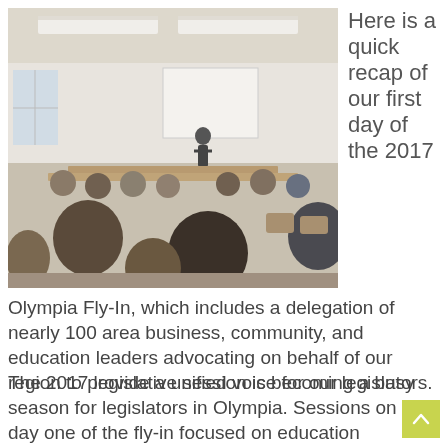[Figure (photo): A large meeting room with people seated around tables in a U-shape, listening to a speaker standing at the front. The room has recessed ceiling lights and a whiteboard at the back.]
Here is a quick recap of our first day of the 2017
Olympia Fly-In, which includes a delegation of nearly 100 area business, community, and education leaders advocating on behalf of our region to provide a unified voice for our legislators.
The 2017 legislative session is becoming a busy season for legislators in Olympia. Sessions on day one of the fly-in focused on education issues as well as